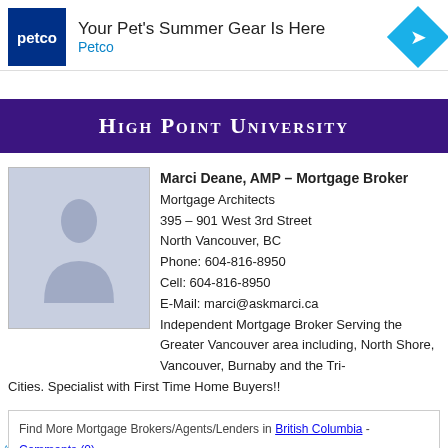[Figure (screenshot): Petco advertisement banner with blue Petco logo box, text 'Your Pet's Summer Gear Is Here' and 'Petco', and a cyan navigation arrow diamond icon. Controls show triangle and X symbols on left.]
[Figure (logo): High Point University banner with white small-caps text on dark purple background.]
[Figure (photo): Placeholder silhouette profile photo with grey background.]
Marci Deane, AMP – Mortgage Broker
Mortgage Architects
395 – 901 West 3rd Street
North Vancouver, BC
Phone: 604-816-8950
Cell: 604-816-8950
E-Mail: marci@askmarci.ca
Independent Mortgage Broker Serving the Greater Vancouver area including, North Shore, Vancouver, Burnaby and the Tri-Cities. Specialist with First Time Home Buyers!!
Find More Mortgage Brokers/Agents/Lenders in British Columbia - Comments (0)
Mortgage Agents Servicing: North Vancouver
Joanne Thomas